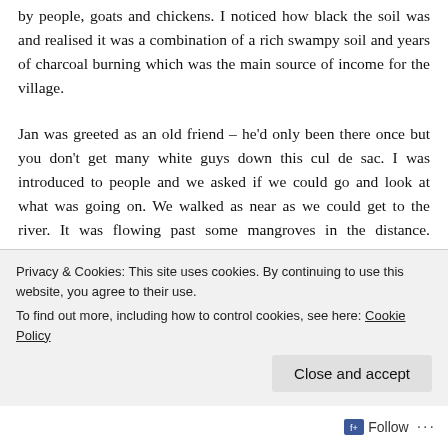canopy of trees but the ground below had been cleared by people, goats and chickens. I noticed how black the soil was and realised it was a combination of a rich swampy soil and years of charcoal burning which was the main source of income for the village.
Jan was greeted as an old friend – he'd only been there once but you don't get many white guys down this cul de sac. I was introduced to people and we asked if we could go and look at what was going on. We walked as near as we could get to the river. It was flowing past some mangroves in the distance. Obviously the tide still reached all the way up here. To our right, a large tributary served as an area to moor their dugout canoes, from which they were heading out
Privacy & Cookies: This site uses cookies. By continuing to use this website, you agree to their use.
To find out more, including how to control cookies, see here: Cookie Policy
Close and accept
Follow